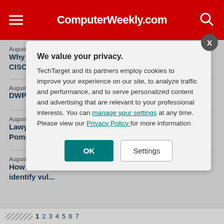ComputerWeekly.com
August 16, 2022
Why organisations need to harmonise their CIO and CISO roles
August 16, 2022
DWP looks to hire new CDIO
August 15, 202...
Lawyers an... Pompeo ov...
August 15, 202...
How clean ... identify vul...
We value your privacy. TechTarget and its partners employ cookies to improve your experience on our site, to analyze traffic and performance, and to serve personalized content and advertising that are relevant to your professional interests. You can manage your settings at any time. Please view our Privacy Policy for more information
1 2 3 4 5 6 7